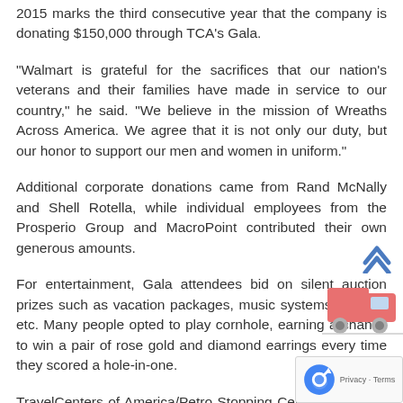2015 marks the third consecutive year that the company is donating $150,000 through TCA's Gala.
“Walmart is grateful for the sacrifices that our nation’s veterans and their families have made in service to our country,” he said. “We believe in the mission of Wreaths Across America. We agree that it is not only our duty, but our honor to support our men and women in uniform.”
Additional corporate donations came from Rand McNally and Shell Rotella, while individual employees from the Prosperio Group and MacroPoint contributed their own generous amounts.
For entertainment, Gala attendees bid on silent auction prizes such as vacation packages, music systems, jewelry, etc. Many people opted to play cornhole, earning a chance to win a pair of rose gold and diamond earrings every time they scored a hole-in-one.
TravelCenters of America/Petro Stopping Centers offered a “wine bottle grab”—bags containing a wine